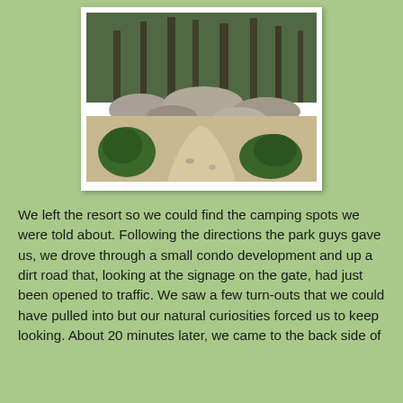[Figure (photo): A dirt trail leading toward a rocky hillside with tall pine trees. Small evergreen shrubs flank the path in the foreground, with boulders and rocks visible on the slope behind.]
We left the resort so we could find the camping spots we were told about. Following the directions the park guys gave us, we drove through a small condo development and up a dirt road that, looking at the signage on the gate, had just been opened to traffic. We saw a few turn-outs that we could have pulled into but our natural curiosities forced us to keep looking. About 20 minutes later, we came to the back side of